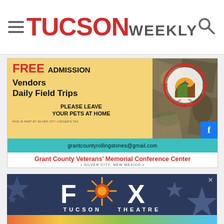TUCSON WEEKLY
[Figure (advertisement): Grant County Rolling Stones ad: FREE ADMISSION, Vendors, Daily Field Trips, PLEASE LEAVE YOUR PETS AT HOME, grantcountyrollingstones@gmail.com, Grant County Veterans Memorial Conference Center, Silver City New Mexico]
[Figure (advertisement): Fox Tucson Theatre advertisement with logo on dark blue background with stars]